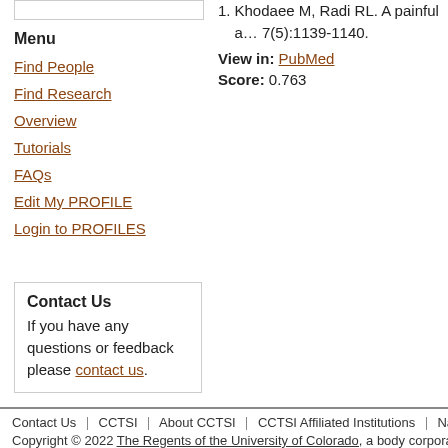Menu
Find People
Find Research
Overview
Tutorials
FAQs
Edit My PROFILE
Login to PROFILES
Contact Us
If you have any questions or feedback please contact us.
1. Khodaee M, Radi RL. A painful a... 7(5):1139-1140.
View in: PubMed
Score: 0.763
Contact Us | CCTSI | About CCTSI | CCTSI Affiliated Institutions | Natio...
Copyright © 2022 The Regents of the University of Colorado, a body corporate. A